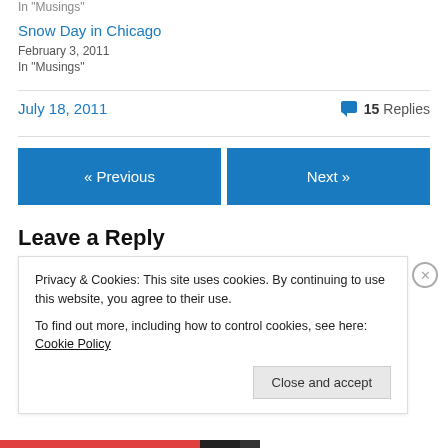In "Musings"
Snow Day in Chicago
February 3, 2011
In "Musings"
July 18, 2011   15 Replies
« Previous
Next »
Leave a Reply
Privacy & Cookies: This site uses cookies. By continuing to use this website, you agree to their use.
To find out more, including how to control cookies, see here: Cookie Policy
Close and accept